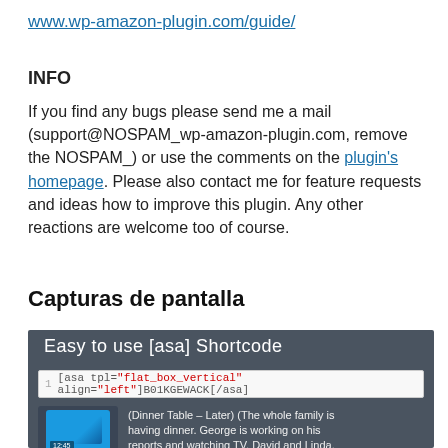www.wp-amazon-plugin.com/guide/
INFO
If you find any bugs please send me a mail (support@NOSPAM_wp-amazon-plugin.com, remove the NOSPAM_) or use the comments on the plugin's homepage. Please also contact me for feature requests and ideas how to improve this plugin. Any other reactions are welcome too of course.
Capturas de pantalla
[Figure (screenshot): Screenshot showing 'Easy to use [asa] Shortcode' with a code example: [asa tpl="flat_box_vertical" align="left"]B01KGEWACK[/asa] and a product image with text '(Dinner Table – Later) (The whole family is having dinner. George is working on his reports and watching TV. David and Linda,']